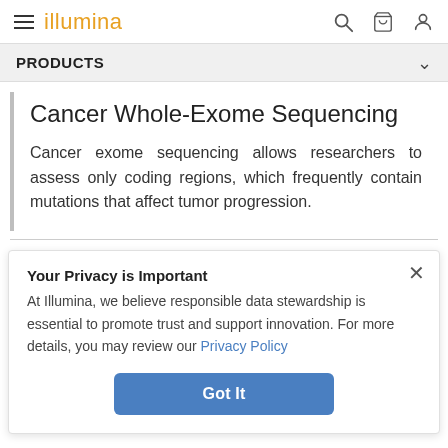illumina — PRODUCTS
Cancer Whole-Exome Sequencing
Cancer exome sequencing allows researchers to assess only coding regions, which frequently contain mutations that affect tumor progression.
Your Privacy is Important
At Illumina, we believe responsible data stewardship is essential to promote trust and support innovation. For more details, you may review our Privacy Policy
Got It